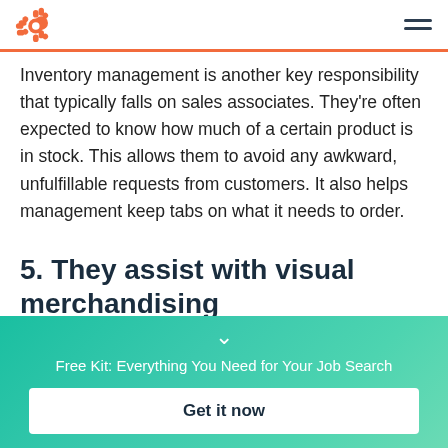HubSpot logo and navigation menu
Inventory management is another key responsibility that typically falls on sales associates. They're often expected to know how much of a certain product is in stock. This allows them to avoid any awkward, unfulfillable requests from customers. It also helps management keep tabs on what it needs to order.
5. They assist with visual merchandising
Free Kit: Everything You Need for Your Job Search
Get it now